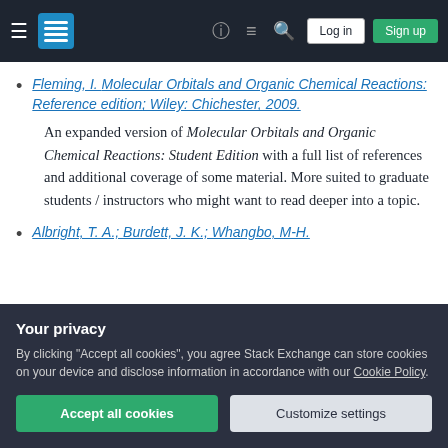Stack Exchange navigation bar with hamburger menu, logo, help, chat, search icons, Log in and Sign up buttons
Fleming, I. Molecular Orbitals and Organic Chemical Reactions: Reference edition; Wiley: Chichester, 2009.
An expanded version of Molecular Orbitals and Organic Chemical Reactions: Student Edition with a full list of references and additional coverage of some material. More suited to graduate students / instructors who might want to read deeper into a topic.
Albright, T. A.; Burdett, J. K.; Whangbo, M-H.
Your privacy
By clicking "Accept all cookies", you agree Stack Exchange can store cookies on your device and disclose information in accordance with our Cookie Policy.
inorganic molecules are discussed). Given the